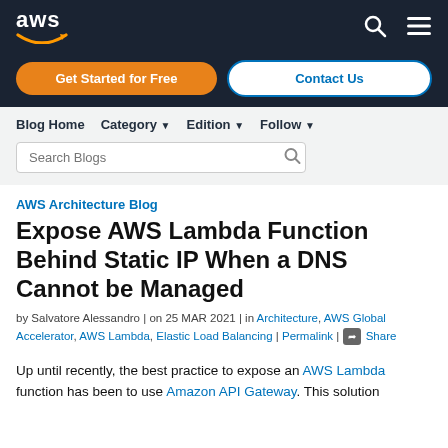AWS
Get Started for Free | Contact Us
Blog Home | Category | Edition | Follow | Search Blogs
AWS Architecture Blog
Expose AWS Lambda Function Behind Static IP When a DNS Cannot be Managed
by Salvatore Alessandro | on 25 MAR 2021 | in Architecture, AWS Global Accelerator, AWS Lambda, Elastic Load Balancing | Permalink | Share
Up until recently, the best practice to expose an AWS Lambda function has been to use Amazon API Gateway. This solution